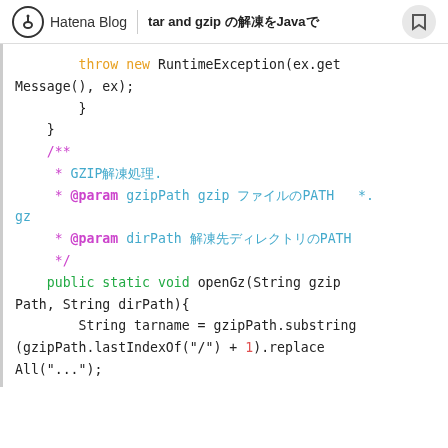Hatena Blog | tar and gzip の解凍をJavaで
throw new RuntimeException(ex.getMessage(), ex);
    }
  }
  /**
   * GZIP解凍処理.
   * @param gzipPath gzip ファイルのPATH  *.gz
   * @param dirPath 解凍先ディレクトリのPATH
   */
  public static void openGz(String gzipPath, String dirPath){
    String tarname = gzipPath.substring(gzipPath.lastIndexOf("/") + 1).replace All("..." ...)